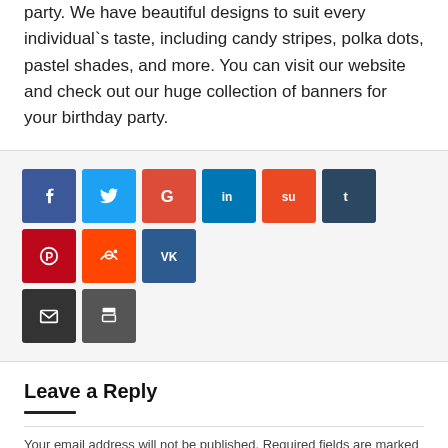party. We have beautiful designs to suit every individual`s taste, including candy stripes, polka dots, pastel shades, and more. You can visit our website and check out our huge collection of banners for your birthday party.
[Figure (infographic): Social media share buttons: Facebook, Twitter, Google+, LinkedIn, StumbleUpon, Tumblr, Pinterest, Reddit, VK, Email, Print]
Leave a Reply
Your email address will not be published. Required fields are marked *